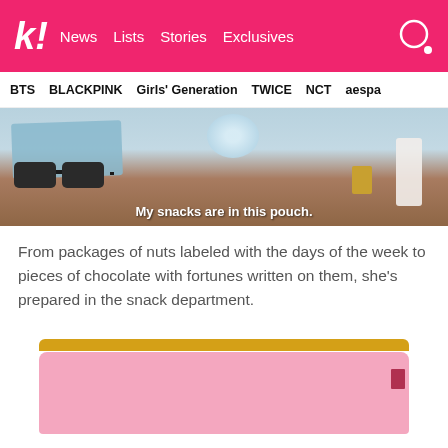k! News Lists Stories Exclusives
BTS BLACKPINK Girls' Generation TWICE NCT aespa
[Figure (screenshot): Video screenshot showing sunglasses on a surface with subtitle text 'My snacks are in this pouch.']
From packages of nuts labeled with the days of the week to pieces of chocolate with fortunes written on them, she's prepared in the snack department.
[Figure (photo): Pink pouch with gold zipper partially visible at bottom of page]